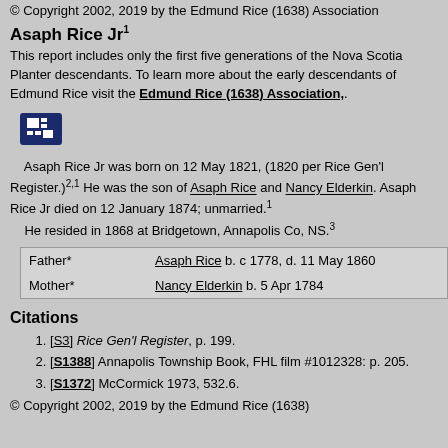© Copyright 2002, 2019 by the Edmund Rice (1638) Association
Asaph Rice Jr1
This report includes only the first five generations of the Nova Scotia Planter descendants. To learn more about the early descendants of Edmund Rice visit the Edmund Rice (1638) Association,.
[Figure (logo): Small icon button with white squares on dark blue background]
Asaph Rice Jr was born on 12 May 1821, (1820 per Rice Gen'l Register.)2,1 He was the son of Asaph Rice and Nancy Elderkin. Asaph Rice Jr died on 12 January 1874; unmarried.1 He resided in 1868 at Bridgetown, Annapolis Co, NS.3
| Father* | Asaph Rice b. c 1778, d. 11 May 1860 |
| Mother* | Nancy Elderkin b. 5 Apr 1784 |
Citations
[S3] Rice Gen'l Register, p. 199.
[S1388] Annapolis Township Book, FHL film #1012328: p. 205.
[S1372] McCormick 1973, 532.6.
© Copyright 2002, 2019 by the Edmund Rice (1638)